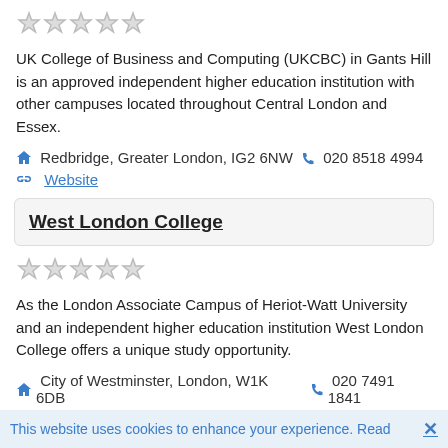[Figure (other): Five empty/outline star rating icons]
UK College of Business and Computing (UKCBC) in Gants Hill is an approved independent higher education institution with other campuses located throughout Central London and Essex.
🏠 Redbridge, Greater London, IG2 6NW 📞 020 8518 4994
🔗 Website
West London College
[Figure (other): Five empty/outline star rating icons]
As the London Associate Campus of Heriot-Watt University and an independent higher education institution West London College offers a unique study opportunity.
🏠 City of Westminster, London, W1K 6DB 📞 020 7491 1841
This website uses cookies to enhance your experience. Read